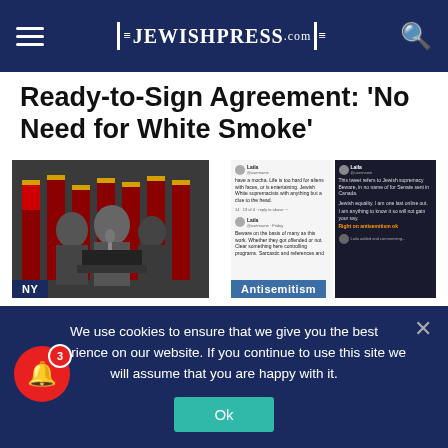JewishPress.com
Ready-to-Sign Agreement: ‘No Need for White Smoke’
[Figure (photo): Politicians standing at podiums with American flags in background, tagged NY]
Jerry Nadler Ends Maloney’s Career, Dan Goldman
[Figure (screenshot): Screenshots of antisemitic tweets, tagged Antisemitism]
Canadian Government Suspends Funding
We use cookies to ensure that we give you the best experience on our website. If you continue to use this site we will assume that you are happy with it.